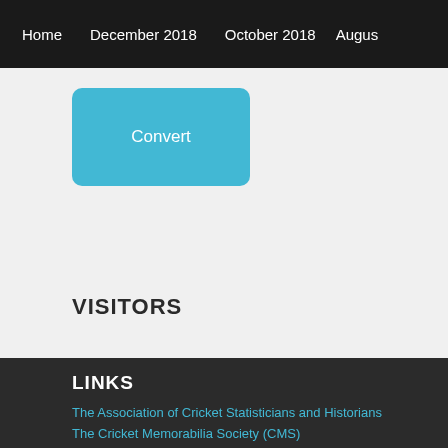Home   December 2018   October 2018   August
[Figure (other): Convert button - a rounded rectangular blue button with white text reading 'Convert']
VISITORS
LINKS
The Association of Cricket Statisticians and Historians
The Cricket Memorabilia Society (CMS)
The Bradman Museum
Australian Cricket Society (Vic)